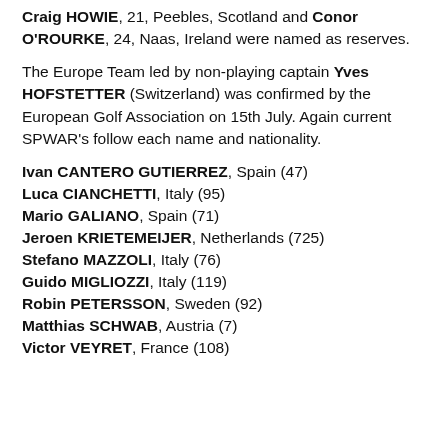Craig HOWIE, 21, Peebles, Scotland and Conor O'ROURKE, 24, Naas, Ireland were named as reserves.
The Europe Team led by non-playing captain Yves HOFSTETTER (Switzerland) was confirmed by the European Golf Association on 15th July. Again current SPWAR's follow each name and nationality.
Ivan CANTERO GUTIERREZ, Spain (47)
Luca CIANCHETTI, Italy (95)
Mario GALIANO, Spain (71)
Jeroen KRIETEMEIJER, Netherlands (725)
Stefano MAZZOLI, Italy (76)
Guido MIGLIOZZI, Italy (119)
Robin PETERSSON, Sweden (92)
Matthias SCHWAB, Austria (7)
Victor VEYRET, France (108)